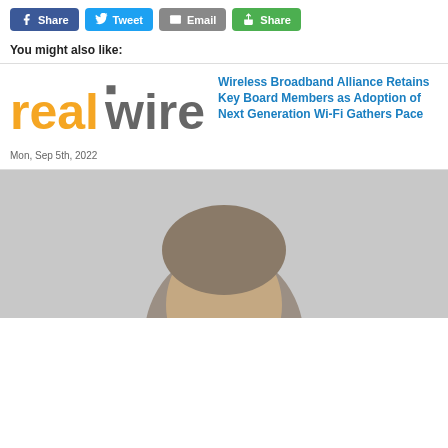[Figure (other): Social sharing buttons: Facebook Share, Twitter Tweet, Email, Share]
You might also like:
[Figure (logo): RealWire logo — orange 'real' and grey 'wire']
Wireless Broadband Alliance Retains Key Board Members as Adoption of Next Generation Wi-Fi Gathers Pace
Mon, Sep 5th, 2022
[Figure (photo): Partial photo of a person, cropped — only top of head visible]